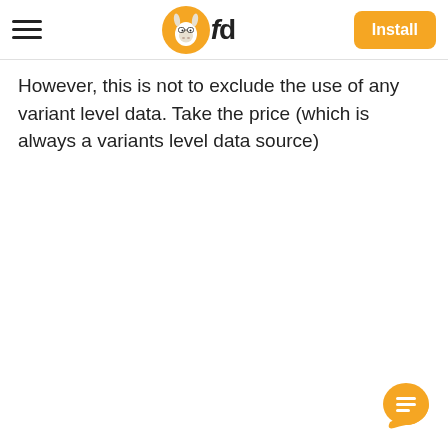fd — Install
However, this is not to exclude the use of any variant level data. Take the price (which is always a variants level data source)